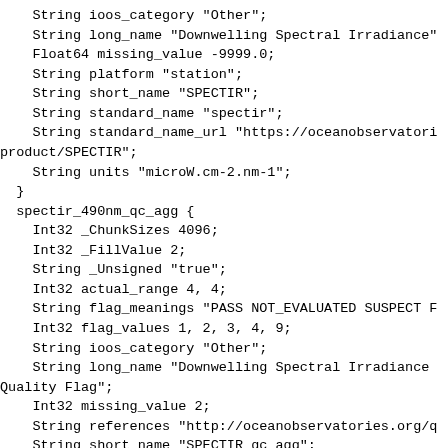String ioos_category "Other";
    String long_name "Downwelling Spectral Irradiance"
    Float64 missing_value -9999.0;
    String platform "station";
    String short_name "SPECTIR";
    String standard_name "spectir";
    String standard_name_url "https://oceanobservatori
product/SPECTIR";
    String units "microW.cm-2.nm-1";
  }
  spectir_490nm_qc_agg {
    Int32 _ChunkSizes 4096;
    Int32 _FillValue 2;
    String _Unsigned "true";
    Int32 actual_range 4, 4;
    String flag_meanings "PASS NOT_EVALUATED SUSPECT F
    Int32 flag_values 1, 2, 3, 4, 9;
    String ioos_category "Other";
    String long_name "Downwelling Spectral Irradiance
Quality Flag";
    Int32 missing_value 2;
    String references "http://oceanobservatories.org/q
    String short_name "SPECTIR_qc_agg";
    String standard_name "aggregate_quality_flag";
  }
  spectir_490nm_qc_tests {